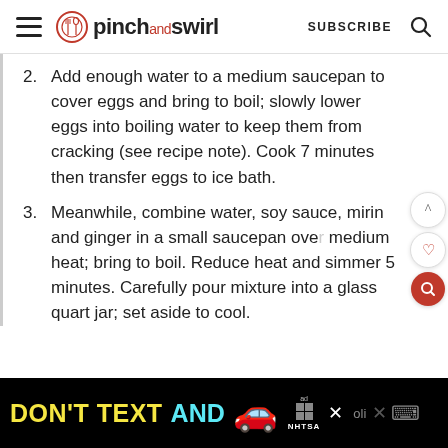pinch and swirl  SUBSCRIBE
2. Add enough water to a medium saucepan to cover eggs and bring to boil; slowly lower eggs into boiling water to keep them from cracking (see recipe note). Cook 7 minutes then transfer eggs to ice bath.
3. Meanwhile, combine water, soy sauce, mirin and ginger in a small saucepan over medium heat; bring to boil. Reduce heat and simmer 5 minutes. Carefully pour mixture into a glass quart jar; set aside to cool.
[Figure (screenshot): Advertisement banner: DON'T TEXT AND [car emoji] ad NHTSA]